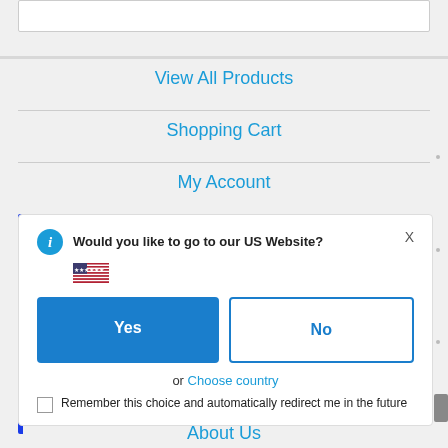View All Products
Shopping Cart
My Account
[Figure (screenshot): A modal dialog asking 'Would you like to go to our US Website?' with a US flag icon, Yes (filled blue) and No (outlined blue) buttons, an 'or Choose country' link, and a 'Remember this choice and automatically redirect me in the future' checkbox. A blue vertical bar appears on the left edge.]
About Us